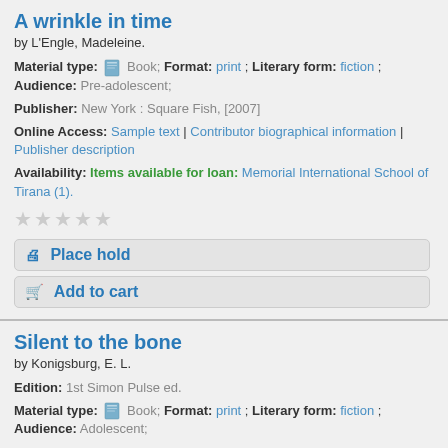A wrinkle in time
by L'Engle, Madeleine.
Material type: Book; Format: print ; Literary form: fiction ; Audience: Pre-adolescent;
Publisher: New York : Square Fish, [2007]
Online Access: Sample text | Contributor biographical information | Publisher description
Availability: Items available for loan: Memorial International School of Tirana (1).
[Figure (other): Five empty star rating icons]
Place hold
Add to cart
Silent to the bone
by Konigsburg, E. L.
Edition: 1st Simon Pulse ed.
Material type: Book; Format: print ; Literary form: fiction ; Audience: Adolescent;
Publisher: New York : Simon Pulse, 2004, c2000
Availability: Items available for loan: Memorial International School of Tirana (1).
[Figure (other): Five empty star rating icons]
Place hold